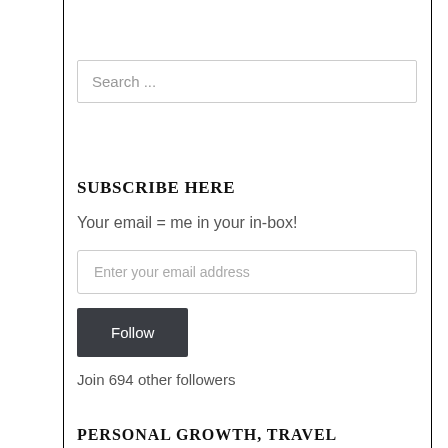Search ...
SUBSCRIBE HERE
Your email = me in your in-box!
Enter your email address
Follow
Join 694 other followers
PERSONAL GROWTH, TRAVEL